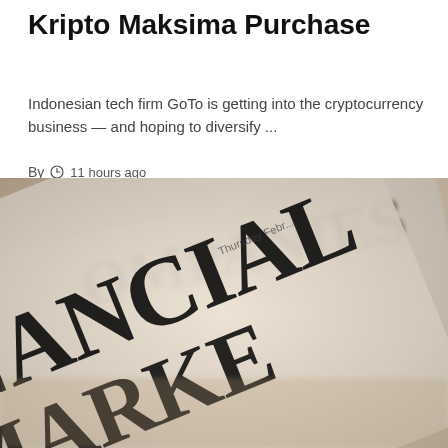Kripto Maksima Purchase
Indonesian tech firm GoTo is getting into the cryptocurrency business — and hoping to diversify ...
By  11 hours ago
[Figure (photo): Close-up photo of financial newspaper pages showing large bold text reading COMPANIES, FINANCIAL MARKETS with date Thursday February visible]